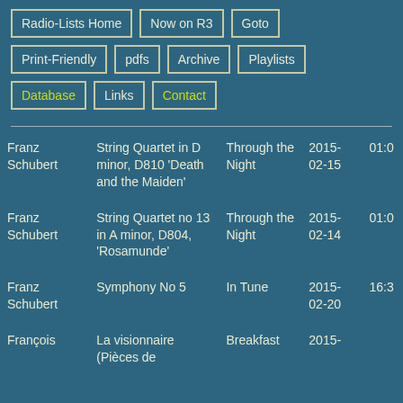Radio-Lists Home
Now on R3
Goto
Print-Friendly
pdfs
Archive
Playlists
Database
Links
Contact
| Composer | Work | Show | Date | Time |
| --- | --- | --- | --- | --- |
| Franz Schubert | String Quartet in D minor, D810 'Death and the Maiden' | Through the Night | 2015-02-15 | 01:0 |
| Franz Schubert | String Quartet no 13 in A minor, D804, 'Rosamunde' | Through the Night | 2015-02-14 | 01:0 |
| Franz Schubert | Symphony No 5 | In Tune | 2015-02-20 | 16:3 |
| François | La visionnaire (Pièces de | Breakfast | 2015- |  |